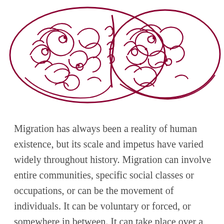[Figure (illustration): A decorative dark red/maroon ornamental illustration of a stylized human brain rendered in an intricate, scrollwork/Celtic knot-like pattern. The brain is shown from above, with elaborate swirling, curving decorative lines filling both hemispheres.]
Migration has always been a reality of human existence, but its scale and impetus have varied widely throughout history. Migration can involve entire communities, specific social classes or occupations, or can be the movement of individuals. It can be voluntary or forced, or somewhere in between. It can take place over a wide range of chronological scales. It can be unidirectional or can involve returns to the migration's point of origin. In most cases, migration and human mobility more broadly also involve interactions between different communities and